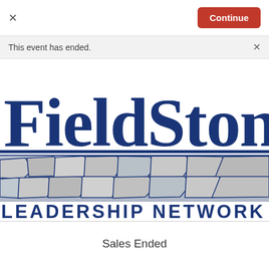×
Continue
This event has ended.
[Figure (logo): FieldStone Leadership Network logo with large blue serif text 'FieldStone' above a decorative fieldstone/cobblestone graphic band, and 'LEADERSHIP NETWORK' in spaced blue sans-serif letters below.]
Sales Ended